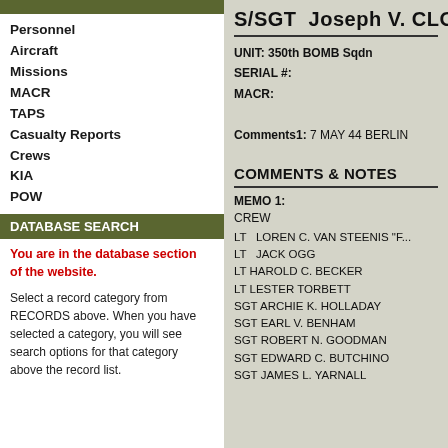Personnel
Aircraft
Missions
MACR
TAPS
Casualty Reports
Crews
KIA
POW
DATABASE SEARCH
You are in the database section of the website.
Select a record category from RECORDS above. When you have selected a category, you will see search options for that category above the record list.
S/SGT Joseph V. CLO
UNIT: 350th BOMB Sqdn
SERIAL #:
MACR:
Comments1: 7 MAY 44 BERLIN
COMMENTS & NOTES
MEMO 1:
CREW
LT  LOREN C. VAN STEENIS "F...
LT  JACK OGG
LT HAROLD C. BECKER
LT LESTER TORBETT
SGT ARCHIE K. HOLLADAY
SGT EARL V. BENHAM
SGT ROBERT N. GOODMAN
SGT EDWARD C. BUTCHINO
SGT JAMES L. YARNALL